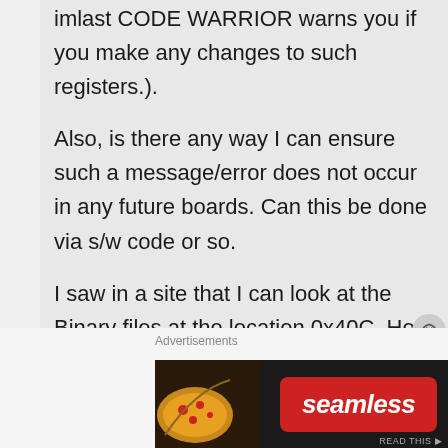imlast CODE WARRIOR warns you if you make any changes to such registers.). Also, is there any way I can ensure such a message/error does not occur in any future boards. Can this be done via s/w code or so. I saw in a site that I can look at the Binary files at the location 0x40C. How can I look at 0x40C. Kindly help me out. This is a disaster as 1 board is beyond recovery.

Another thing that I am planning to
Advertisements
[Figure (other): Seamless food delivery advertisement banner with pizza image, red Seamless logo pill, and ORDER NOW button]